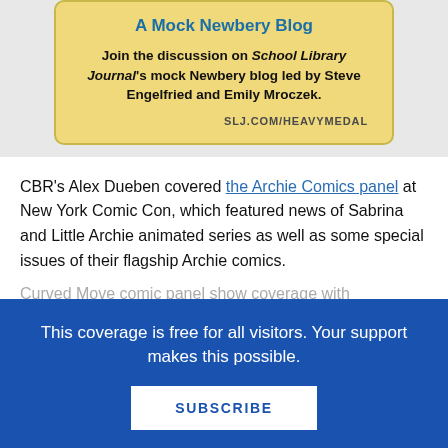[Figure (other): Advertisement card for 'A Mock Newbery Blog' on SLJ.com/heavymedal, with yellow background, teal title, bold body text inviting readers to join the discussion on School Library Journal's mock Newbery blog led by Steve Engelfried and Emily Mroczek.]
CBR's Alex Dueben covered the Archie Comics panel at New York Comic Con, which featured news of Sabrina and Little Archie animated series as well as some special issues of their flagship Archie comics.
This coverage is free for all visitors. Your support makes this possible.
SUBSCRIBE